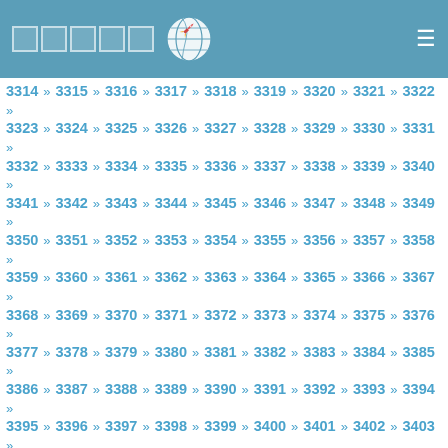Navigation page with logo and menu icon
3314 » 3315 » 3316 » 3317 » 3318 » 3319 » 3320 » 3321 » 3322 » 3323 » 3324 » 3325 » 3326 » 3327 » 3328 » 3329 » 3330 » 3331 » 3332 » 3333 » 3334 » 3335 » 3336 » 3337 » 3338 » 3339 » 3340 » 3341 » 3342 » 3343 » 3344 » 3345 » 3346 » 3347 » 3348 » 3349 » 3350 » 3351 » 3352 » 3353 » 3354 » 3355 » 3356 » 3357 » 3358 » 3359 » 3360 » 3361 » 3362 » 3363 » 3364 » 3365 » 3366 » 3367 » 3368 » 3369 » 3370 » 3371 » 3372 » 3373 » 3374 » 3375 » 3376 » 3377 » 3378 » 3379 » 3380 » 3381 » 3382 » 3383 » 3384 » 3385 » 3386 » 3387 » 3388 » 3389 » 3390 » 3391 » 3392 » 3393 » 3394 » 3395 » 3396 » 3397 » 3398 » 3399 » 3400 » 3401 » 3402 » 3403 » 3404 » 3405 » 3406 » 3407 » 3408 » 3409 » 3410 » 3411 » 3412 » 3413 » 3414 » 3415 » 3416 » 3417 » 3418 » 3419 » 3420 » 3421 » 3422 » 3423 » 3424 » 3425 » 3426 » 3427 » 3428 » 3429 » 3430 » 3431 » 3432 » 3433 » 3434 » 3435 » 3436 » 3437 » 3438 » 3439 » 3440 » 3441 » 3442 » 3443 » 3444 » 3445 » 3446 » 3447 » 3448 » 3449 » 3450 » 3451 » 3452 » 3453 » 3454 » 3455 » 3456 » 3457 » 3458 » 3459 » 3460 » 3461 » 3462 » 3463 » 3464 » 3465 » 3466 » 3467 » 3468 » 3469 » 3470 » 3471 » 3472 » 3473 » 3474 » 3475 » 3476 » 3477 » 3478 » 3479 » 3480 » 3481 » 3482 » 3483 » 3484 » 3485 » 3486 » 3487 » 3488 » 3489 » 3490 » 3491 » 3492 » 3493 » 3494 » 3495 » 3496 » 3497 » 3498 » 3499 » 3500 » 3501 » 3502